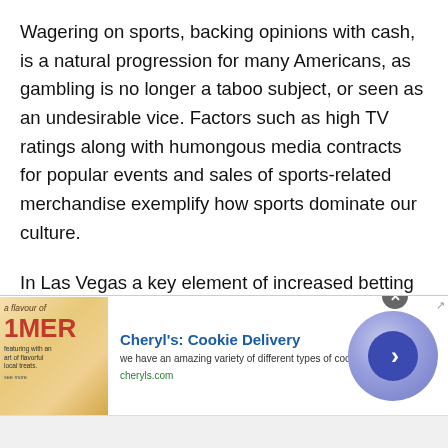Wagering on sports, backing opinions with cash, is a natural progression for many Americans, as gambling is no longer a taboo subject, or seen as an undesirable vice. Factors such as high TV ratings along with humongous media contracts for popular events and sales of sports-related merchandise exemplify how sports dominate our culture.
In Las Vegas a key element of increased betting volume is the popularity of mobile betting apps. Virtually every Vegas sports wagering operation now offers these devices which allow customers the freedom and convenience of placing bets from anywhere within the
[Figure (other): Advertisement banner for Cheryl's Cookie Delivery showing a decorative image on the left, ad title 'Cheryl's: Cookie Delivery', description text 'we have an amazing variety of different types of cookies', URL 'cheryls.com', a close button (X), and a blue circular CTA arrow button on the right.]